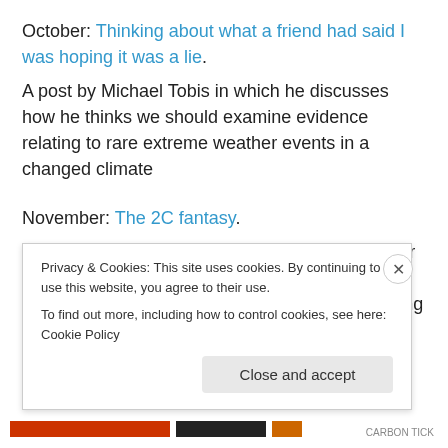October: Thinking about what a friend had said I was hoping it was a lie.
A post by Michael Tobis in which he discusses how he thinks we should examine evidence relating to rare extreme weather events in a changed climate
November: The 2C fantasy.
Prior to the meeting in Paris there were a number of people (Oliver Geden being a prominent example) who were promoting the idea the limiting warming to 2°C was a fantasy. In this post I discuss some of what they've
Privacy & Cookies: This site uses cookies. By continuing to use this website, you agree to their use.
To find out more, including how to control cookies, see here: Cookie Policy
Close and accept